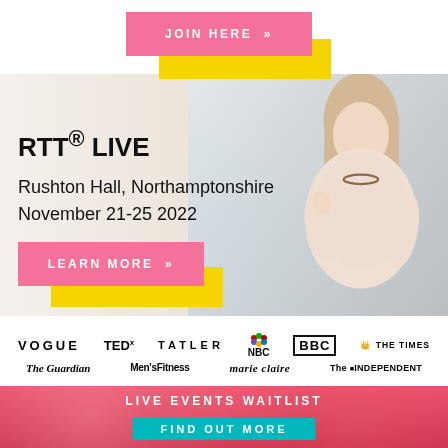[Figure (other): Pink 'JOIN HERE »' button with yellow accent block behind it on white background]
[Figure (photo): Hero image of blonde woman in light pink blouse, sitting, with bright window background. Overlaid text: RTT® LIVE, Rushton Hall, Northamptonshire, November 21-25 2022, and LEARN MORE button with yellow accent.]
RTT® LIVE
Rushton Hall, Northamptonshire
November 21-25 2022
[Figure (other): Pink 'LEARN MORE »' button with yellow accent block]
[Figure (other): Media logo strip: VOGUE, TEDx, TATLER, NBC, BBC, THE TIMES, The Guardian, Men's Fitness, marie claire, The Independent]
LIVE EVENTS WAITLIST
FIND OUT MORE